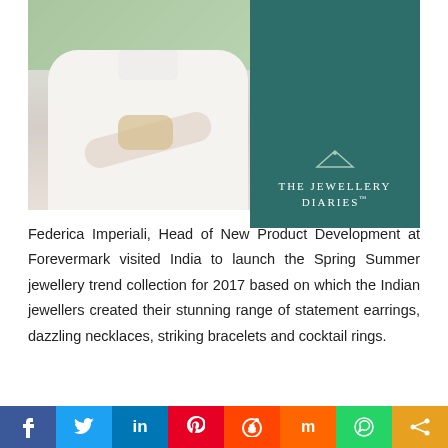[Figure (photo): Photo of a woman in a white shirt wearing a pearl/diamond bracelet on her wrist, with The Jewellery Diaries logo on a dark teal background to the right.]
Federica Imperiali, Head of New Product Development at Forevermark visited India to launch the Spring Summer jewellery trend collection for 2017 based on which the Indian jewellers created their stunning range of statement earrings, dazzling necklaces, striking bracelets and cocktail rings.
Social share bar: Facebook, Twitter, LinkedIn, Pinterest, Reddit, Mix, WhatsApp, Share